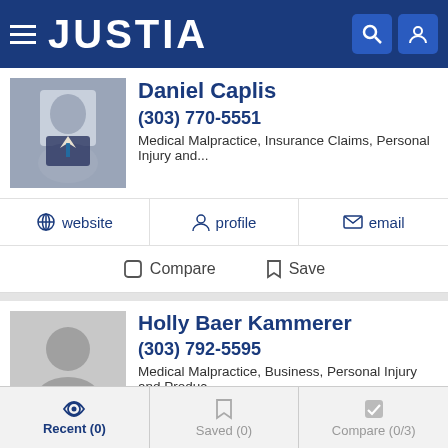JUSTIA
Daniel Caplis
(303) 770-5551
Medical Malpractice, Insurance Claims, Personal Injury and...
website  profile  email
Compare  Save
Holly Baer Kammerer
(303) 792-5595
Medical Malpractice, Business, Personal Injury and Produc...
profile  email
Compare  Save
Recent (0)  Saved (0)  Compare (0/3)